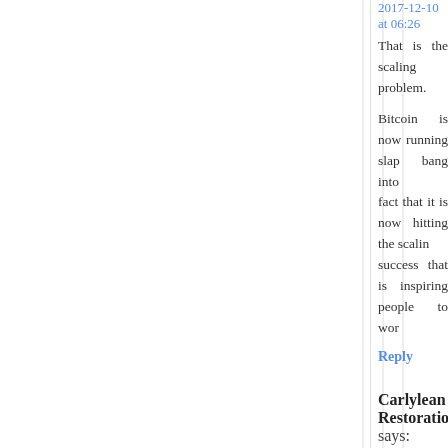2017-12-10 at 06:26
That is the scaling problem.
Bitcoin is now running slap bang into the fact that it is now hitting the scaling success that is inspiring people to wor...
Reply
Carlylean Restorationist says:
2017-12-12 at 00:49
Spot on Dave. Bitcoin is right-wing activism...
There's something of the Charlottesville idea of the government trying to seize it a government doing so crops up at all in the If you're trying to resist then you're going d...
Passivism requires that you avoid all fo... would personally even include arguing w... good ideas separately, as in this blog.)
Ultimately Bitcoin's a fight against the sta... those who stand to lose if that system goes...
A network of hubs and people connecting... decades. Napster was basically that mode... similar systems. They all eventually go th...